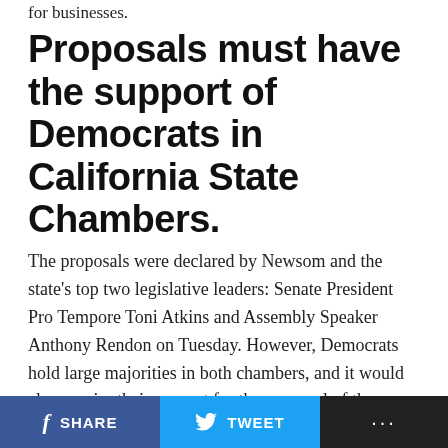for businesses.
Proposals must have the support of Democrats in California State Chambers.
The proposals were declared by Newsom and the state's top two legislative leaders: Senate President Pro Tempore Toni Atkins and Assembly Speaker Anthony Rendon on Tuesday. However, Democrats hold large majorities in both chambers, and it would also require their support for the approval of the projects.
The proposal envisages workers getting one week of paid time off if their family members test positive for the virus. The companies will have to provide the coronavirus
SHARE   TWEET   ...